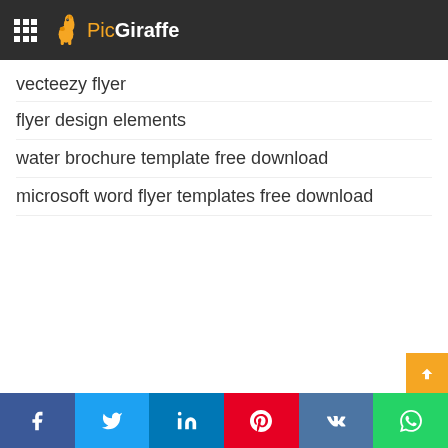PicGiraffe
vecteezy flyer
flyer design elements
water brochure template free download
microsoft word flyer templates free download